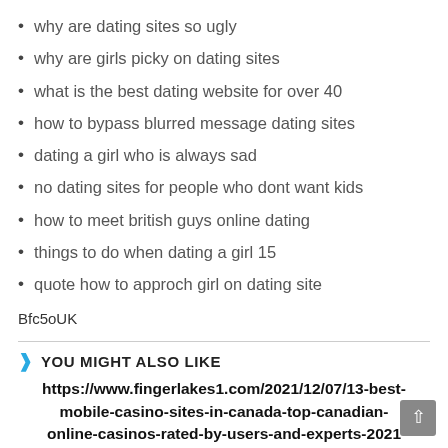why are dating sites so ugly
why are girls picky on dating sites
what is the best dating website for over 40
how to bypass blurred message dating sites
dating a girl who is always sad
no dating sites for people who dont want kids
how to meet british guys online dating
things to do when dating a girl 15
quote how to approch girl on dating site
Bfc5oUK
YOU MIGHT ALSO LIKE
https://www.fingerlakes1.com/2021/12/07/13-best-mobile-casino-sites-in-canada-top-canadian-online-casinos-rated-by-users-and-experts-2021